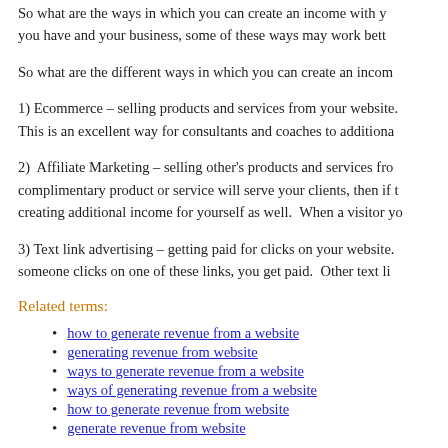So what are the ways in which you can create an income with y... you have and your business, some of these ways may work bett...
So what are the different ways in which you can create an incom...
1) Ecommerce – selling products and services from your website. This is an excellent way for consultants and coaches to additiona...
2)  Affiliate Marketing – selling other's products and services fro... complimentary product or service will serve your clients, then if t... creating additional income for yourself as well.  When a visitor yo...
3) Text link advertising – getting paid for clicks on your website. someone clicks on one of these links, you get paid.  Other text li...
Related terms:
how to generate revenue from a website
generating revenue from website
ways to generate revenue from a website
ways of generating revenue from a website
how to generate revenue from website
generate revenue from website